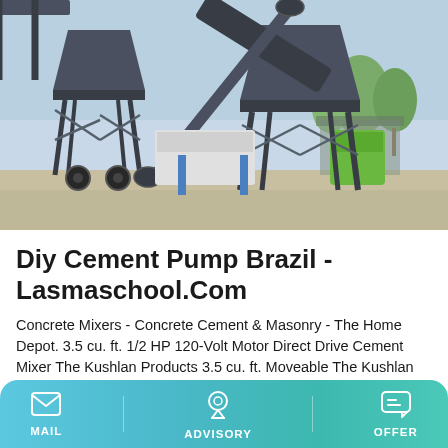[Figure (photo): Industrial concrete batching plant / cement mixer machinery on an outdoor site, with conveyor belt and steel hoppers, trees and shed in background]
Diy Cement Pump Brazil - Lasmaschool.Com
Concrete Mixers - Concrete Cement & Masonry - The Home Depot. 3.5 cu. ft. 1/2 HP 120-Volt Motor Direct Drive Cement Mixer The Kushlan Products 3.5 cu. ft. Moveable The Kushlan Products 3.5 cu. ft. Moveable Pedestal Mixer is filled with features that make this rugged mixer affordable yet ideal for the do-it-yourselfer or professional.
MAIL  ADVISORY  OFFER